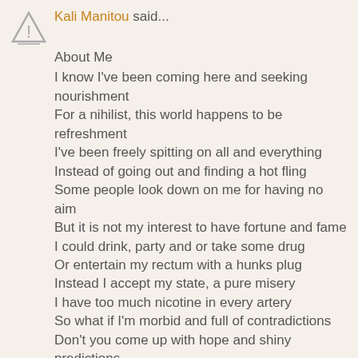Kali Manitou said...
About Me
I know I've been coming here and seeking nourishment
For a nihilist, this world happens to be refreshment
I've been freely spitting on all and everything
Instead of going out and finding a hot fling
Some people look down on me for having no aim
But it is not my interest to have fortune and fame
I could drink, party and or take some drug
Or entertain my rectum with a hunks plug
Instead I accept my state, a pure misery
I have too much nicotine in every artery
So what if I'm morbid and full of contradictions
Don't you come up with hope and shiny predictions
As if there is an example of peace and brotherhood
Nobody around seems to be in a positive mood
Yes, I'm a house poet in an inconsequential